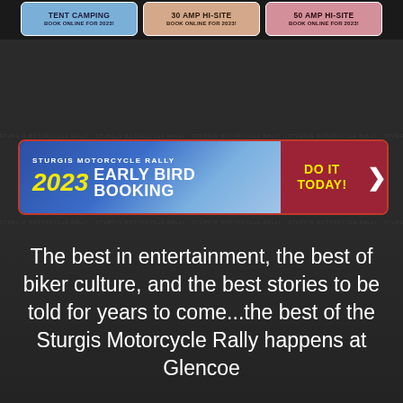[Figure (infographic): Three camp/site booking cards at top: TENT CAMPING, 30 AMP HI-SITE, 50 AMP HI-SITE, each with BOOK ONLINE FOR 2023!]
[Figure (infographic): Sturgis Motorcycle Rally 2023 Early Bird Booking banner ad with blue gradient left side showing '2023 EARLY BIRD BOOKING' in yellow and white, and dark red right side with 'DO IT TODAY!' and chevron arrow]
The best in entertainment, the best of biker culture, and the best stories to be told for years to come...the best of the Sturgis Motorcycle Rally happens at Glencoe